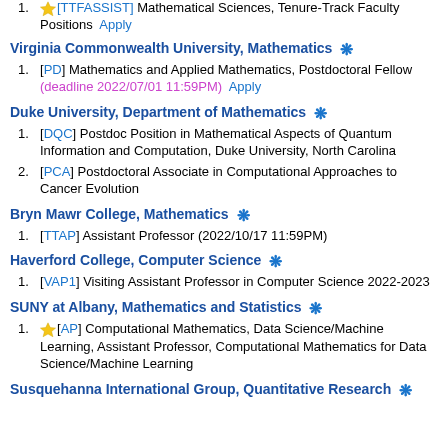[TTFASSIST] Mathematical Sciences, Tenure-Track Faculty Positions  Apply
Virginia Commonwealth University, Mathematics ❋
[PD] Mathematics and Applied Mathematics, Postdoctoral Fellow (deadline 2022/07/01 11:59PM)  Apply
Duke University, Department of Mathematics ❋
[DQC] Postdoc Position in Mathematical Aspects of Quantum Information and Computation, Duke University, North Carolina
[PCA] Postdoctoral Associate in Computational Approaches to Cancer Evolution
Bryn Mawr College, Mathematics ❋
[TTAP] Assistant Professor (2022/10/17 11:59PM)
Haverford College, Computer Science ❋
[VAP1] Visiting Assistant Professor in Computer Science 2022-2023
SUNY at Albany, Mathematics and Statistics ❋
⭐[AP] Computational Mathematics, Data Science/Machine Learning, Assistant Professor, Computational Mathematics for Data Science/Machine Learning
Susquehanna International Group, Quantitative Research ❋